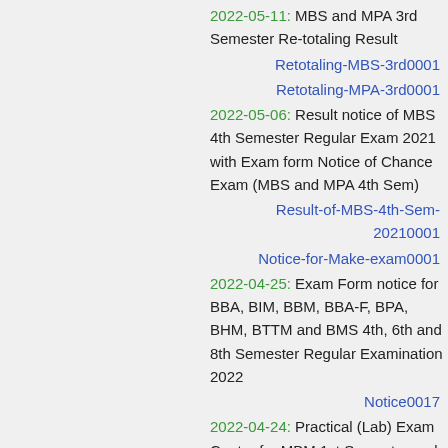2022-05-11: MBS and MPA 3rd Semester Re-totaling Result
Retotaling-MBS-3rd0001
Retotaling-MPA-3rd0001
2022-05-06: Result notice of MBS 4th Semester Regular Exam 2021 with Exam form Notice of Chance Exam (MBS and MPA 4th Sem)
Result-of-MBS-4th-Sem-20210001
Notice-for-Make-exam0001
2022-04-25: Exam Form notice for BBA, BIM, BBM, BBA-F, BPA, BHM, BTTM and BMS 4th, 6th and 8th Semester Regular Examination 2022
Notice0017
2022-04-24: Practical (Lab) Exam Center for MBM 1st Semester and BBA-F 2nd Semester Regular Examination 2022
Lab Exam Center